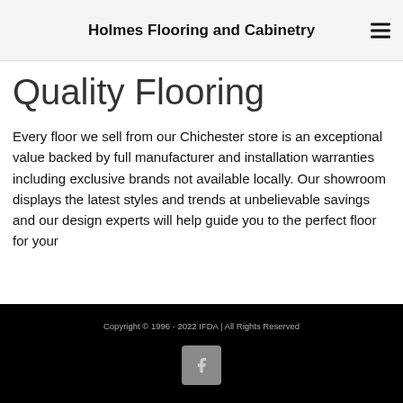Holmes Flooring and Cabinetry
Quality Flooring
Every floor we sell from our Chichester store is an exceptional value backed by full manufacturer and installation warranties including exclusive brands not available locally. Our showroom displays the latest styles and trends at unbelievable savings and our design experts will help guide you to the perfect floor for your
Copyright © 1996 - 2022 IFDA | All Rights Reserved